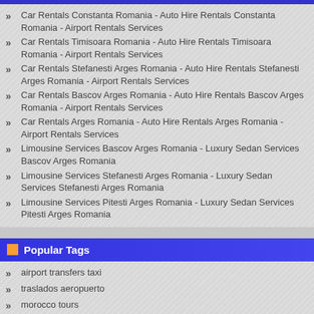Car Rentals Constanta Romania - Auto Hire Rentals Constanta Romania - Airport Rentals Services
Car Rentals Timisoara Romania - Auto Hire Rentals Timisoara Romania - Airport Rentals Services
Car Rentals Stefanesti Arges Romania - Auto Hire Rentals Stefanesti Arges Romania - Airport Rentals Services
Car Rentals Bascov Arges Romania - Auto Hire Rentals Bascov Arges Romania - Airport Rentals Services
Car Rentals Arges Romania - Auto Hire Rentals Arges Romania - Airport Rentals Services
Limousine Services Bascov Arges Romania - Luxury Sedan Services Bascov Arges Romania
Limousine Services Stefanesti Arges Romania - Luxury Sedan Services Stefanesti Arges Romania
Limousine Services Pitesti Arges Romania - Luxury Sedan Services Pitesti Arges Romania
Popular Tags
airport transfers taxi
traslados aeropuerto
morocco tours
traslados taxi
autobuses traslados
Tours Excursions Trips Cruises